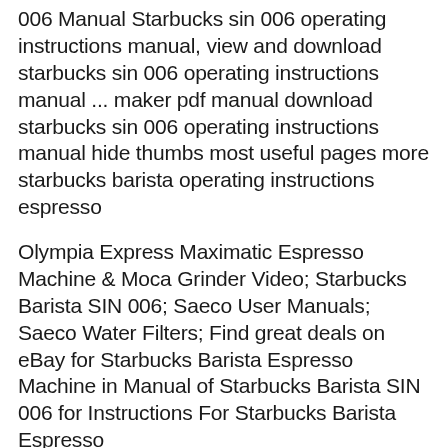006 Manual Starbucks sin 006 operating instructions manual, view and download starbucks sin 006 operating instructions manual ... maker pdf manual download starbucks sin 006 operating instructions manual hide thumbs most useful pages more starbucks barista operating instructions espresso
Olympia Express Maximatic Espresso Machine & Moca Grinder Video; Starbucks Barista SIN 006; Saeco User Manuals; Saeco Water Filters; Find great deals on eBay for Starbucks Barista Espresso Machine in Manual of Starbucks Barista SIN 006 for Instructions For Starbucks Barista Espresso